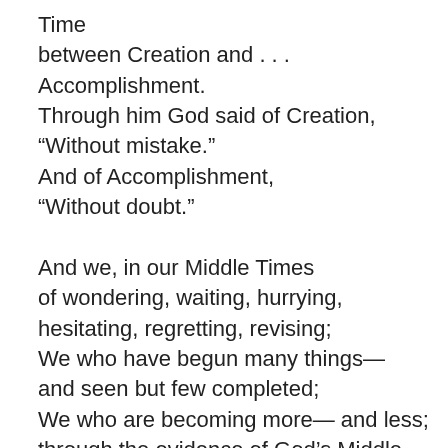Time
between Creation and . . . Accomplishment.
Through him God said of Creation,
“Without mistake.”
And of Accomplishment,
“Without doubt.”

And we, in our Middle Times
of wondering, waiting, hurrying,
hesitating, regretting, revising;
We who have begun many things—
and seen but few completed;
We who are becoming more— and less;
through the evidence of God’s Middle Time
have a stabilizing hint